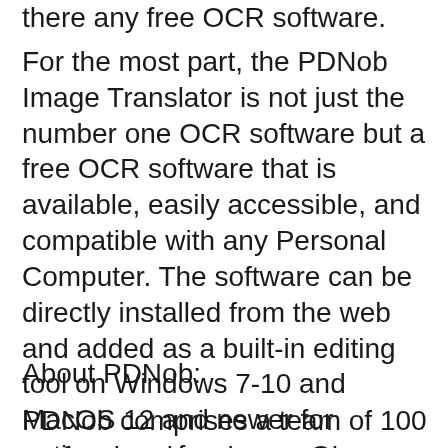there any free OCR software.
For the most part, the PDNob Image Translator is not just the number one OCR software but a free OCR software that is available, easily accessible, and compatible with any Personal Computer. The software can be directly installed from the web and added as a built-in editing tool on Windows 7-10 and MacOS 12 and newer for optimum performance. Once installed, it can be used to analyze scanned page images and compare text characters, making them editable and replicable.
About PDNob:
PDNob comprises a team of 100 professional engineers who use their top-tier expertise in